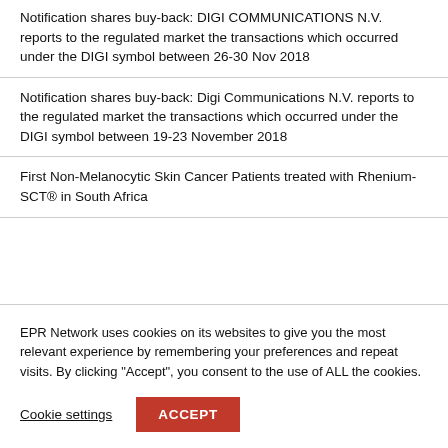Notification shares buy-back: DIGI COMMUNICATIONS N.V. reports to the regulated market the transactions which occurred under the DIGI symbol between 26-30 Nov 2018
Notification shares buy-back: Digi Communications N.V. reports to the regulated market the transactions which occurred under the DIGI symbol between 19-23 November 2018
First Non-Melanocytic Skin Cancer Patients treated with Rhenium-SCT® in South Africa
EPR Network uses cookies on its websites to give you the most relevant experience by remembering your preferences and repeat visits. By clicking "Accept", you consent to the use of ALL the cookies.